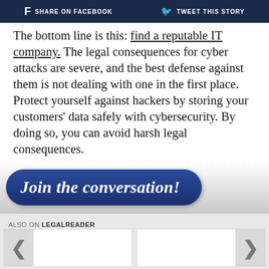f SHARE ON FACEBOOK   🐦 TWEET THIS STORY
The bottom line is this: find a reputable IT company. The legal consequences for cyber attacks are severe, and the best defense against them is not dealing with one in the first place. Protect yourself against hackers by storing your customers' data safely with cybersecurity. By doing so, you can avoid harsh legal consequences.
[Figure (other): Blue rounded button with white italic bold text: 'Join the conversation!']
ALSO ON LEGALREADER
[Figure (other): Two white card placeholders with left and right navigation arrows, part of a content carousel.]